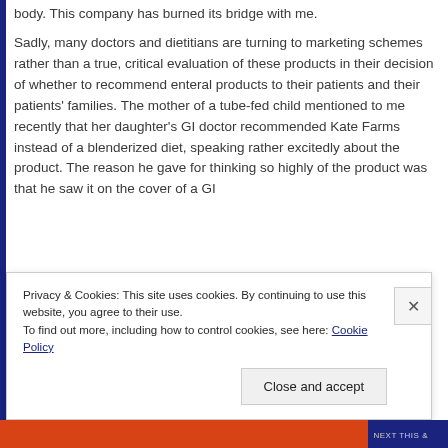body. This company has burned its bridge with me.
Sadly, many doctors and dietitians are turning to marketing schemes rather than a true, critical evaluation of these products in their decision of whether to recommend enteral products to their patients and their patients' families. The mother of a tube-fed child mentioned to me recently that her daughter's GI doctor recommended Kate Farms instead of a blenderized diet, speaking rather excitedly about the product. The reason he gave for thinking so highly of the product was that he saw it on the cover of a GI
Privacy & Cookies: This site uses cookies. By continuing to use this website, you agree to their use.
To find out more, including how to control cookies, see here: Cookie Policy